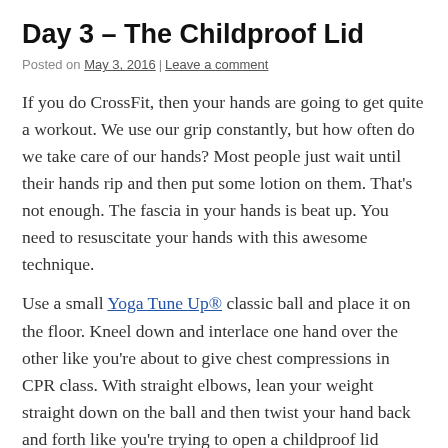Day 3 – The Childproof Lid
Posted on May 3, 2016 | Leave a comment
If you do CrossFit, then your hands are going to get quite a workout. We use our grip constantly, but how often do we take care of our hands? Most people just wait until their hands rip and then put some lotion on them. That's not enough. The fascia in your hands is beat up. You need to resuscitate your hands with this awesome technique.
Use a small Yoga Tune Up® classic ball and place it on the floor. Kneel down and interlace one hand over the other like you're about to give chest compressions in CPR class. With straight elbows, lean your weight straight down on the ball and then twist your hand back and forth like you're trying to open a childproof lid